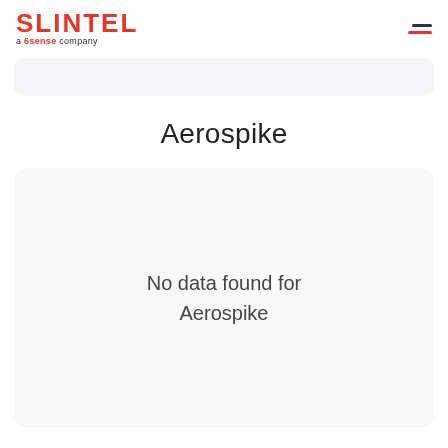SLINTEL a 6sense company
Aerospike
No data found for Aerospike